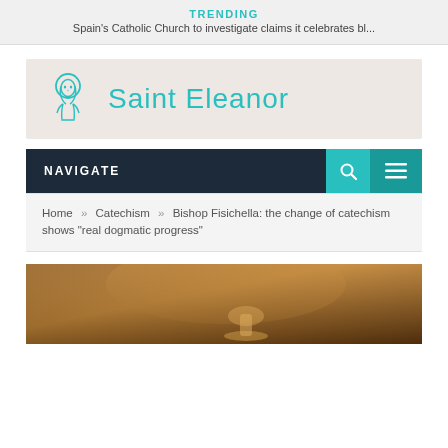TRENDING
Spain's Catholic Church to investigate claims it celebrates bl...
[Figure (logo): Saint Eleanor logo with icon of a saint figure and teal text 'Saint Eleanor']
NAVIGATE
Home » Catechism » Bishop Fisichella: the change of catechism shows "real dogmatic progress"
[Figure (photo): Partial image of a religious item, warm brown tones, bottom of page]